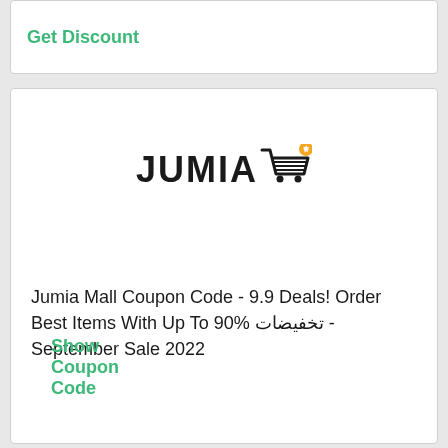Get Discount
[Figure (logo): Jumia logo with shopping cart icon]
Jumia Mall Coupon Code - 9.9 Deals! Order Best Items With Up To 90% تخفيضات - September Sale 2022
Show Coupon Code